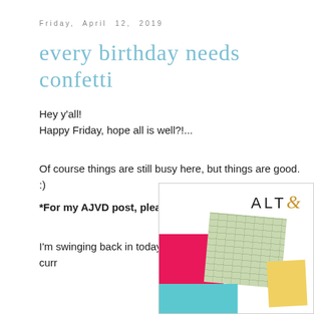Friday, April 12, 2019
every birthday needs confetti
Hey y'all!
Happy Friday, hope all is well?!...
Of course things are still busy here, but things are good. :)
*For my AJVD post, please scroll down.*
I'm swinging back in today to share a card I made for the curr
[Figure (photo): Partial view of craft cards and supplies including pink, cyan, map-patterned, and yellow elements with ALTE logo visible in corner]